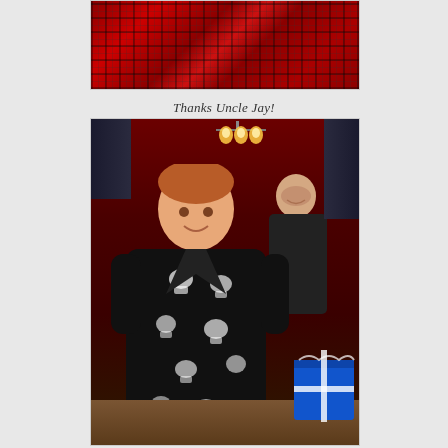[Figure (photo): Partial top photo showing red plaid fabric/blanket with dark pattern background, appears to be a close-up of a gift or clothing item]
Thanks Uncle Jay!
[Figure (photo): Young red-haired boy smiling, wearing a black fleece robe/blanket with white skull-and-crossbones pattern. A woman is visible in the background smiling. Interior room with chandelier, dark red walls. Gift bags visible in corner.]